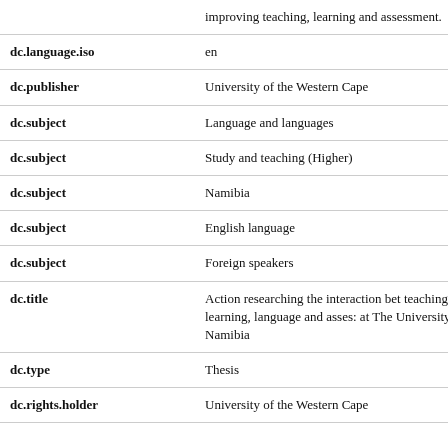| Field | Value |
| --- | --- |
|  | improving teaching, learning and assessment. |
| dc.language.iso | en |
| dc.publisher | University of the Western Cape |
| dc.subject | Language and languages |
| dc.subject | Study and teaching (Higher) |
| dc.subject | Namibia |
| dc.subject | English language |
| dc.subject | Foreign speakers |
| dc.title | Action researching the interaction bet teaching, learning, language and asses: at The University of Namibia |
| dc.type | Thesis |
| dc.rights.holder | University of the Western Cape |